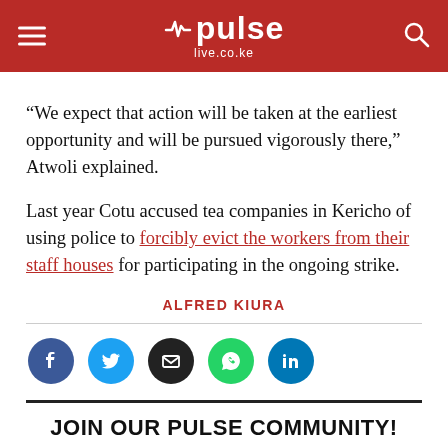pulse live.co.ke
“We expect that action will be taken at the earliest opportunity and will be pursued vigorously there,” Atwoli explained.
Last year Cotu accused tea companies in Kericho of using police to forcibly evict the workers from their staff houses for participating in the ongoing strike.
ALFRED KIURA
[Figure (infographic): Social share icons: Facebook, Twitter, Email, WhatsApp, LinkedIn]
JOIN OUR PULSE COMMUNITY!